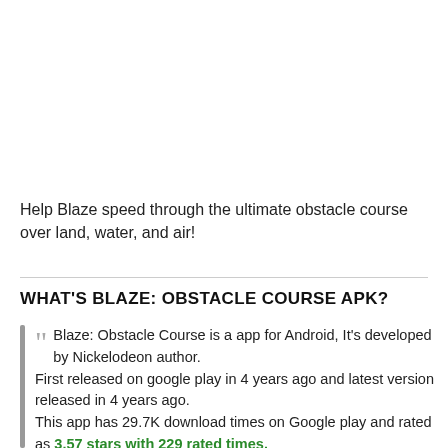Help Blaze speed through the ultimate obstacle course over land, water, and air!
WHAT'S BLAZE: OBSTACLE COURSE APK?
Blaze: Obstacle Course is a app for Android, It's developed by Nickelodeon author. First released on google play in 4 years ago and latest version released in 4 years ago. This app has 29.7K download times on Google play and rated as 3.57 stars with 229 rated times.